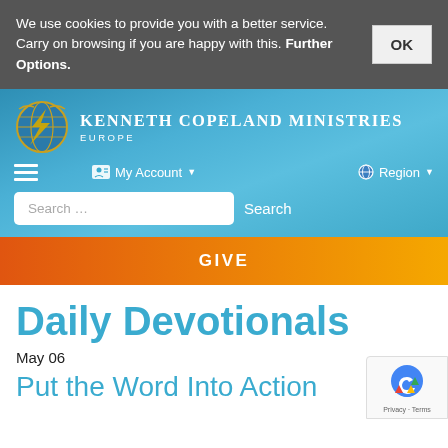We use cookies to provide you with a better service. Carry on browsing if you are happy with this. Further Options.
KENNETH COPELAND MINISTRIES EUROPE
[Figure (logo): Kenneth Copeland Ministries Europe logo with globe and lightning bolt icon]
☰  My Account ▾    🌐 Region ▾
Search …  Search
GIVE
Daily Devotionals
May 06
Put the Word Into Action